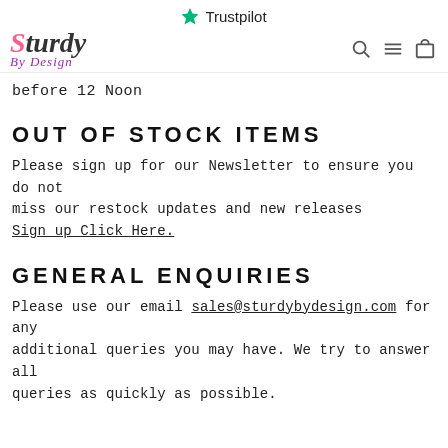★ Trustpilot
[Figure (logo): Sturdy By Design logo with navigation icons (search, menu, cart)]
before 12 Noon
OUT OF STOCK ITEMS
Please sign up for our Newsletter to ensure you do not miss our restock updates and new releases Sign up Click Here.
GENERAL ENQUIRIES
Please use our email sales@sturdybydesign.com for any additional queries you may have. We try to answer all queries as quickly as possible.